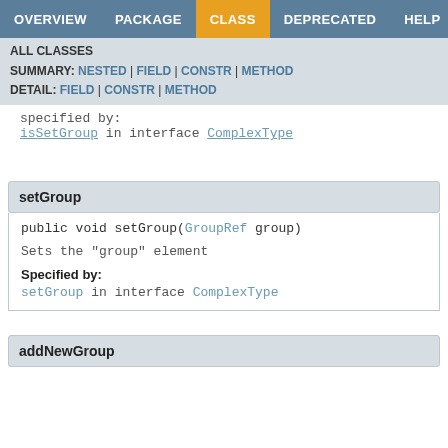OVERVIEW  PACKAGE  CLASS  DEPRECATED  HELP
ALL CLASSES
SUMMARY: NESTED | FIELD | CONSTR | METHOD
DETAIL: FIELD | CONSTR | METHOD
specified by:
isSetGroup in interface ComplexType
setGroup
public void setGroup(GroupRef group)

Sets the "group" element

Specified by:
setGroup in interface ComplexType
addNewGroup